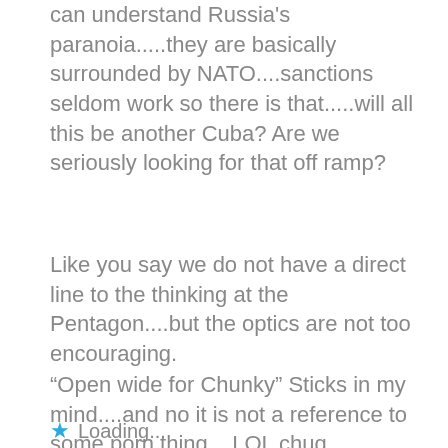can understand Russia's paranoia.....they are basically surrounded by NATO....sanctions seldom work so there is that.....will all this be another Cuba? Are we seriously looking for that off ramp?
Like you say we do not have a direct line to the thinking at the Pentagon....but the optics are not too encouraging.
“Open wide for Chunky” Sticks in my mind....and no it is not a reference to some porn thing....LOL chuq
Loading...